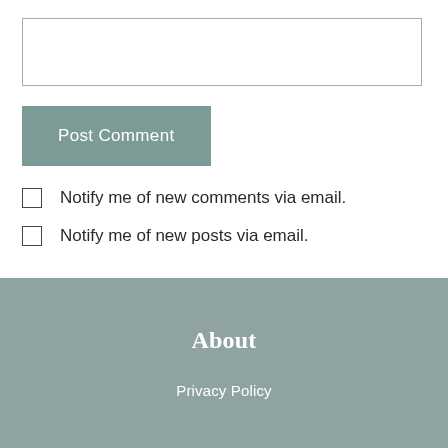[Figure (other): Empty comment text input box with border]
Post Comment
Notify me of new comments via email.
Notify me of new posts via email.
About
Privacy Policy